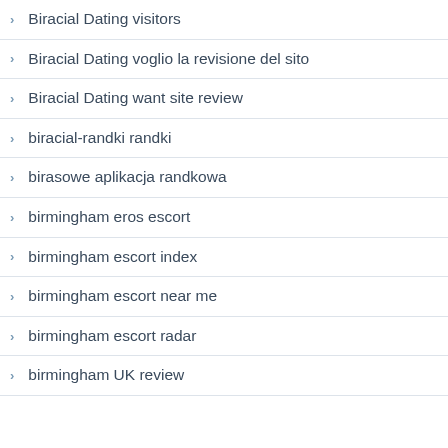Biracial Dating visitors
Biracial Dating voglio la revisione del sito
Biracial Dating want site review
biracial-randki randki
birasowe aplikacja randkowa
birmingham eros escort
birmingham escort index
birmingham escort near me
birmingham escort radar
birmingham UK review